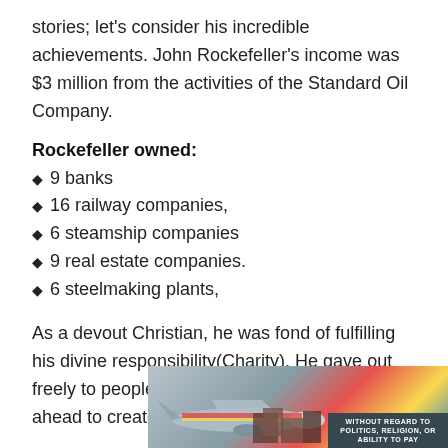stories; let's consider his incredible achievements. John Rockefeller's income was $3 million from the activities of the Standard Oil Company.
Rockefeller owned:
9 banks
16 railway companies,
6 steamship companies
9 real estate companies.
6 steelmaking plants,
As a devout Christian, he was fond of fulfilling his divine responsibility(Charity). He gave out freely to people who were in need and went ahead to create the Rockefeller Foundation.
[Figure (photo): Advertisement banner showing an aircraft being loaded with cargo, with colorful airline livery and a dark overlay text reading 'WITHOUT REGARD TO POLITICS, RELIGION, OR ABILITY TO PAY']